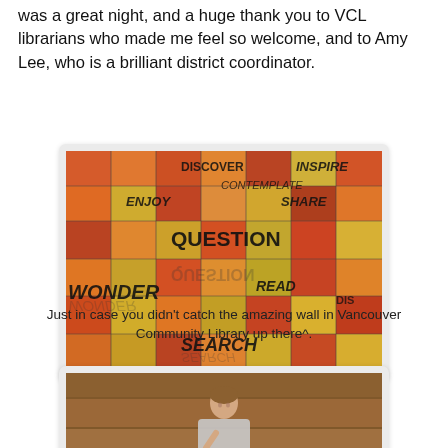was a great night, and a huge thank you to VCL librarians who made me feel so welcome, and to Amy Lee, who is a brilliant district coordinator.
[Figure (photo): Photo of a colorful tiled wall with words DISCOVER, INSPIRE, CONTEMPLATE, ENJOY, SHARE, QUESTION, READ, WONDER, DIS-, SEARCH arranged across orange, red, and yellow-green tiles at the Vancouver Community Library.]
Just in case you didn't catch the amazing wall in Vancouver Community Library up there^.
[Figure (photo): Photo of a person standing inside the Vancouver Community Library, partially visible at the bottom of the page.]